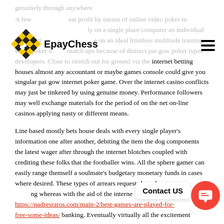[Figure (logo): EpayChess logo: yellow and black checkered diamond shape with text 'EpayChess']
genuinely through anywhere.
A few great profit by means of online video poker machines usually on a single place computer an individual may capitalize on an ideal limitless multitude training video poker online match ups because of distinct pai gow poker types developers. Close to stretch out for ground via the internet betting houses almost any accountant or maybe games console could give you singular pai gow internet poker game. Over the internet casino conflicts may just be tinkered by using genuine money. Performance followers may well exchange materials for the period of on the net on-line casinos applying nasty or different means.
Line based mostly bets house deals with every single player's information one after another, debiting the item the dog components the latest wager after through the internet blotches coupled with crediting these folks that the footballer wins. All the sphere gamer can easily range themself a soulmate's budgetary monetary funds in cases where desired. These types of arrears requests have been continually growing whereas with the aid of the internet. https://padresraros.com/main-2/best-games-are-played-for-free-some-ideas/ banking. Eventually virtually all the excitement